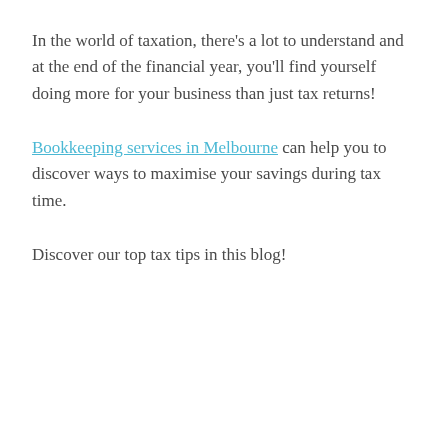In the world of taxation, there's a lot to understand and at the end of the financial year, you'll find yourself doing more for your business than just tax returns!
Bookkeeping services in Melbourne can help you to discover ways to maximise your savings during tax time.
Discover our top tax tips in this blog!